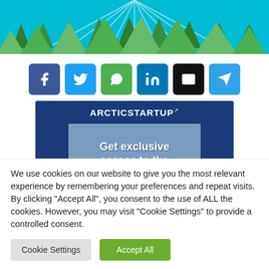[Figure (illustration): Header illustration with green forest/pine trees on a teal/cyan background with rays, decorative banner graphic]
[Figure (infographic): Row of six social media share buttons: Facebook (blue), Twitter (light blue), WhatsApp (green), LinkedIn (dark blue), Email (black), Telegram (light blue)]
[Figure (screenshot): ArcticStartup banner ad with blue background showing 'ARCTICSTARTUP' logo and text 'Get exclusive access to the']
We use cookies on our website to give you the most relevant experience by remembering your preferences and repeat visits. By clicking "Accept All", you consent to the use of ALL the cookies. However, you may visit "Cookie Settings" to provide a controlled consent.
Cookie Settings | Accept All